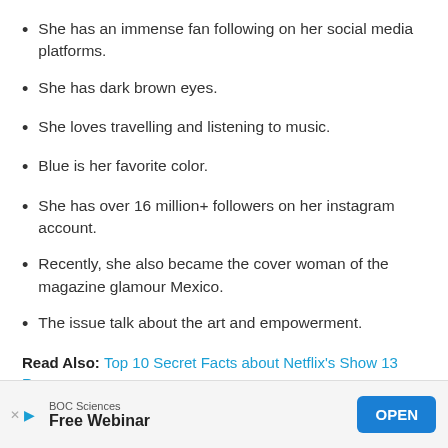She has an immense fan following on her social media platforms.
She has dark brown eyes.
She loves travelling and listening to music.
Blue is her favorite color.
She has over 16 million+ followers on her instagram account.
Recently, she also became the cover woman of the magazine glamour Mexico.
The issue talk about the art and empowerment.
Read Also: Top 10 Secret Facts about Netflix's Show 13 Reasons
[Figure (other): Advertisement banner: BOC Sciences Free Webinar with OPEN button]